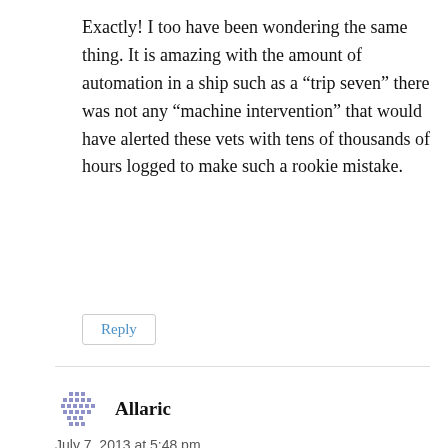Exactly! I too have been wondering the same thing. It is amazing with the amount of automation in a ship such as a “trip seven” there was not any “machine intervention” that would have alerted these vets with tens of thousands of hours logged to make such a rookie mistake.
Reply
Allaric
July 7, 2013 at 5:48 pm
Thanks for the Physics breakdown , as a Physics/Science student I like to tell my friends